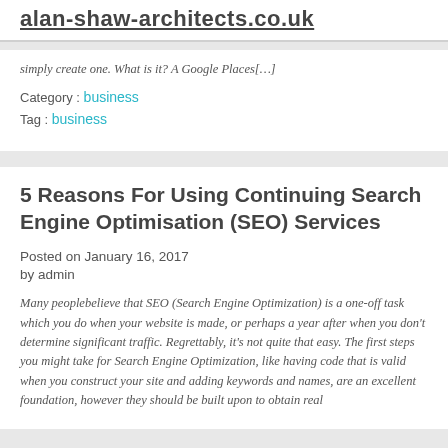alan-shaw-architects.co.uk
simply create one. What is it? A Google Places[…]
Category : business
Tag : business
5 Reasons For Using Continuing Search Engine Optimisation (SEO) Services
Posted on January 16, 2017
by admin
Many peoplebelieve that SEO (Search Engine Optimization) is a one-off task which you do when your website is made, or perhaps a year after when you don't determine significant traffic. Regrettably, it's not quite that easy. The first steps you might take for Search Engine Optimization, like having code that is valid when you construct your site and adding keywords and names, are an excellent foundation, however they should be built upon to obtain real